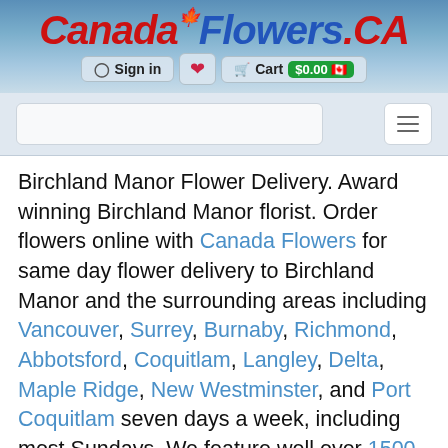CanadaFlowers.ca — Sign in | Cart $0.00
[Figure (screenshot): CanadaFlowers.ca website header with logo, navigation bar (Sign in, heart, Cart $0.00), search input, and hamburger menu]
Birchland Manor Flower Delivery. Award winning Birchland Manor florist. Order flowers online with Canada Flowers for same day flower delivery to Birchland Manor and the surrounding areas including Vancouver, Surrey, Burnaby, Richmond, Abbotsford, Coquitlam, Langley, Delta, Maple Ridge, New Westminster, and Port Coquitlam seven days a week, including most Sundays. We feature well over 1500 beautiful flower arrangements and original bouquets delivered by the best FTD® and Teleflora florists in Birchland Manor. Our entire website offers fresh flowers